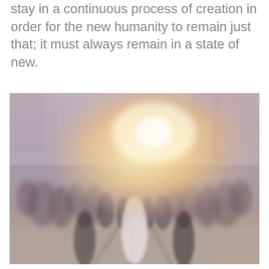stay in a continuous process of creation in order for the new humanity to remain just that; it must always remain in a state of new.
[Figure (photo): Blurred crowd of people walking on a city street with bright warm sunlight glare in the background, bokeh effect, urban scene]